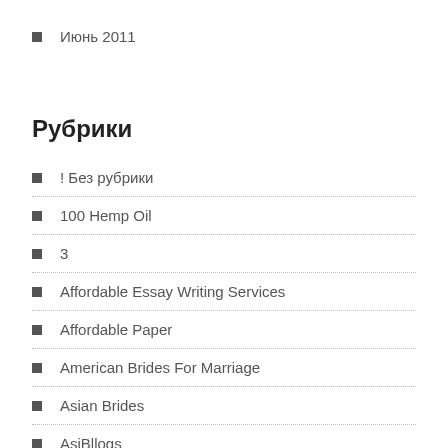Июнь 2011
Рубрики
! Без рубрики
100 Hemp Oil
3
Affordable Essay Writing Services
Affordable Paper
American Brides For Marriage
Asian Brides
AsiBllogs